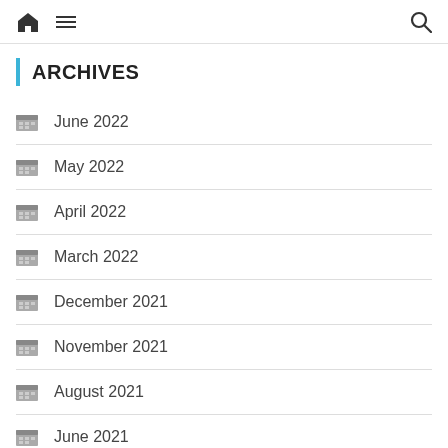Home | Menu | Search
ARCHIVES
June 2022
May 2022
April 2022
March 2022
December 2021
November 2021
August 2021
June 2021
May 2021
April 2021